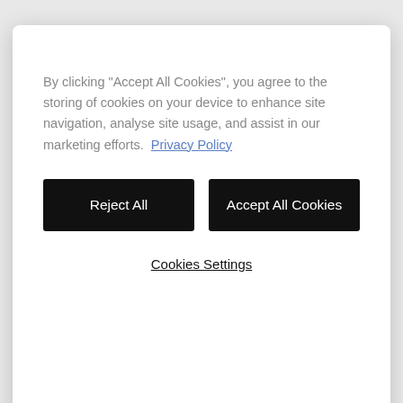By clicking "Accept All Cookies", you agree to the storing of cookies on your device to enhance site navigation, analyse site usage, and assist in our marketing efforts. Privacy Policy
Reject All
Accept All Cookies
Cookies Settings
you. So read. For best information. Label.
Cities